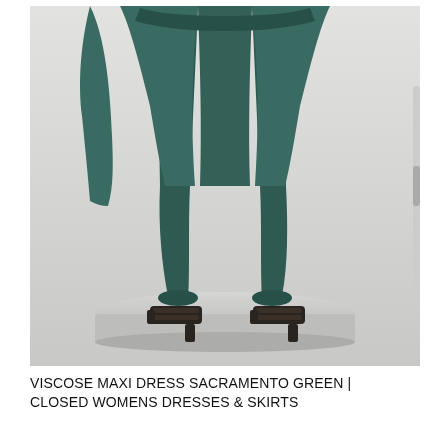[Figure (photo): Fashion product photo of a model standing on a round white pedestal, wearing a dark teal/sacramento green viscose outfit consisting of wide-leg trousers and a loose top. The model is cropped from mid-torso down. She wears dark heeled mule sandals. Background is light grey.]
VISCOSE MAXI DRESS SACRAMENTO GREEN | CLOSED WOMENS DRESSES & SKIRTS